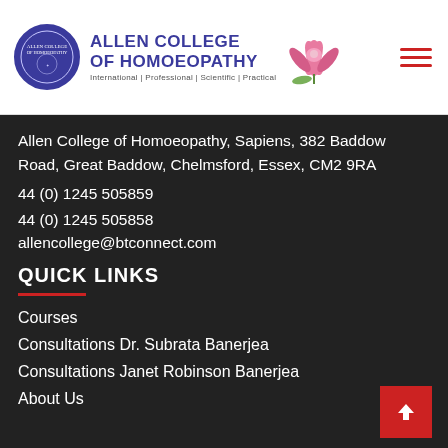[Figure (logo): Allen College of Homoeopathy logo with circular emblem, college name in blue, tagline, and lotus flower graphic]
Allen College of Homoeopathy, Sapiens, 382 Baddow Road, Great Baddow, Chelmsford, Essex, CM2 9RA
44 (0) 1245 505859
44 (0) 1245 505858
allencollege@btconnect.com
QUICK LINKS
Courses
Consultations Dr. Subrata Banerjea
Consultations Janet Robinson Banerjea
About Us